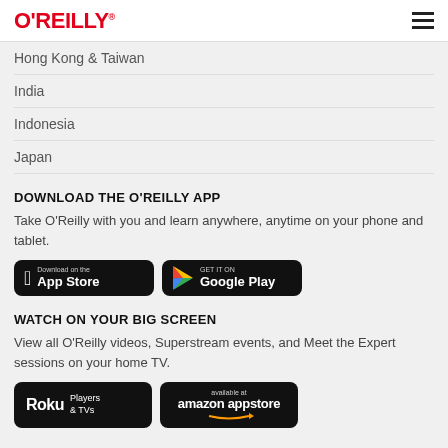O'REILLY
Hong Kong & Taiwan
India
Indonesia
Japan
DOWNLOAD THE O'REILLY APP
Take O'Reilly with you and learn anywhere, anytime on your phone and tablet.
[Figure (logo): App Store and Google Play download buttons]
WATCH ON YOUR BIG SCREEN
View all O'Reilly videos, Superstream events, and Meet the Expert sessions on your home TV.
[Figure (logo): Roku Players & TVs and Amazon Appstore buttons]